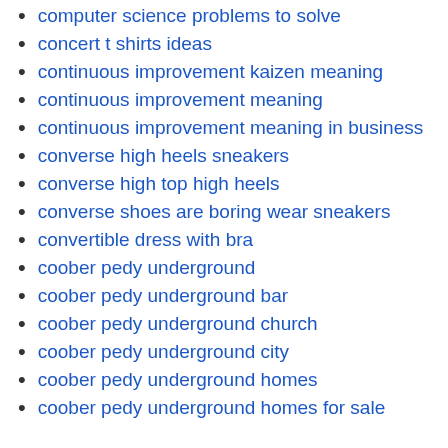computer science problems to solve
concert t shirts ideas
continuous improvement kaizen meaning
continuous improvement meaning
continuous improvement meaning in business
converse high heels sneakers
converse high top high heels
converse shoes are boring wear sneakers
convertible dress with bra
coober pedy underground
coober pedy underground bar
coober pedy underground church
coober pedy underground city
coober pedy underground homes
coober pedy underground homes for sale